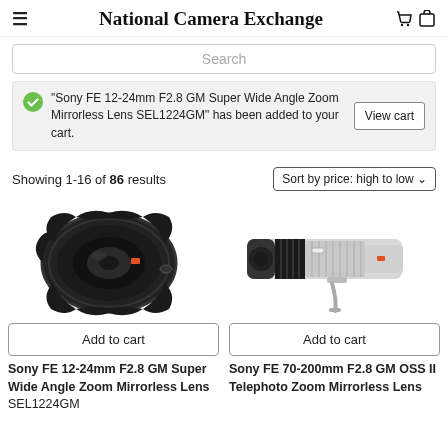National Camera Exchange
Search
"Sony FE 12-24mm F2.8 GM Super Wide Angle Zoom Mirrorless Lens SEL1224GM" has been added to your cart.
Showing 1-16 of 86 results
Sort by price: high to low
[Figure (photo): Sony FE 12-24mm F2.8 GM Super Wide Angle Zoom Mirrorless Lens - wide angle black lens]
[Figure (photo): Sony FE 70-200mm F2.8 GM OSS II Telephoto Zoom Mirrorless Lens - long white telephoto lens]
Add to cart
Add to cart
Sony FE 12-24mm F2.8 GM Super Wide Angle Zoom Mirrorless Lens SEL1224GM
Sony FE 70-200mm F2.8 GM OSS II Telephoto Zoom Mirrorless Lens